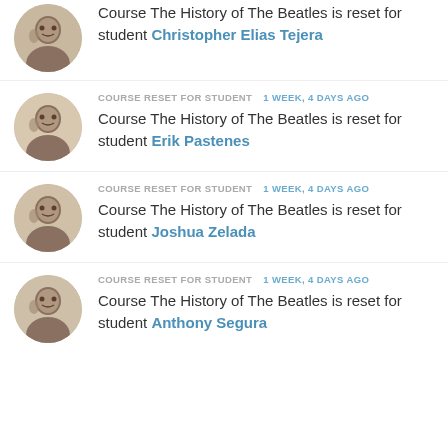Course The History of The Beatles is reset for student Christopher Elias Tejera
COURSE RESET FOR STUDENT 1 WEEK, 4 DAYS AGO Course The History of The Beatles is reset for student Erik Pastenes
COURSE RESET FOR STUDENT 1 WEEK, 4 DAYS AGO Course The History of The Beatles is reset for student Joshua Zelada
COURSE RESET FOR STUDENT 1 WEEK, 4 DAYS AGO Course The History of The Beatles is reset for student Anthony Segura